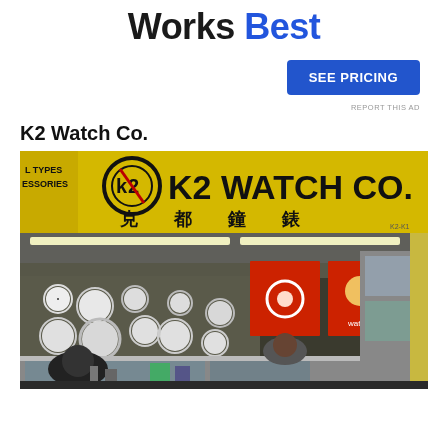Works Best
SEE PRICING
REPORT THIS AD
K2 Watch Co.
[Figure (photo): Photograph of K2 Watch Co. storefront stall. Yellow banner sign reads 'K2 WATCH CO.' with Chinese characters below (克都鐘錶). A logo with K2 in a circle is visible. The stall has many clocks on the wall, display cases with watches, red promotional panels, fluorescent lighting. Two people are visible behind the counter.]